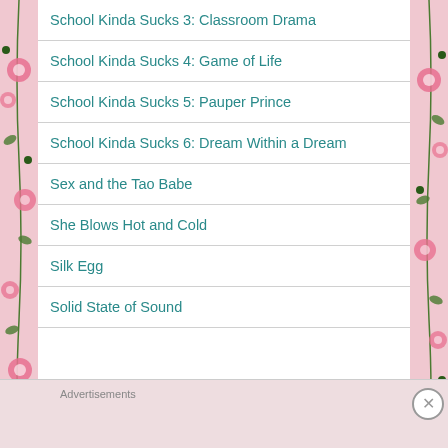School Kinda Sucks 3: Classroom Drama
School Kinda Sucks 4: Game of Life
School Kinda Sucks 5: Pauper Prince
School Kinda Sucks 6: Dream Within a Dream
Sex and the Tao Babe
She Blows Hot and Cold
Silk Egg
Solid State of Sound
Advertisements